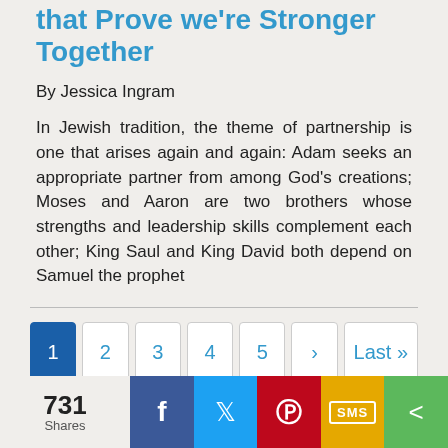that Prove we're Stronger Together
By Jessica Ingram
In Jewish tradition, the theme of partnership is one that arises again and again: Adam seeks an appropriate partner from among God’s creations; Moses and Aaron are two brothers whose strengths and leadership skills complement each other; King Saul and King David both depend on Samuel the prophet
731 Shares | Facebook | Twitter | Pinterest | SMS | Share